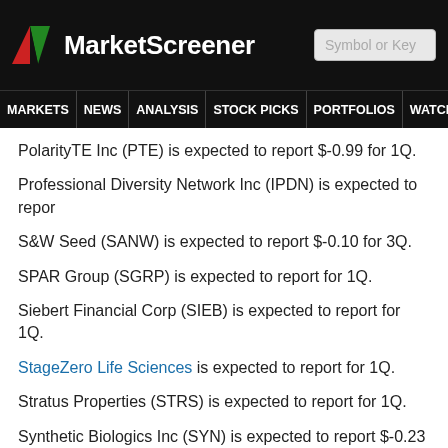MarketScreener
PolarityTE Inc (PTE) is expected to report $-0.99 for 1Q.
Professional Diversity Network Inc (IPDN) is expected to report
S&W Seed (SANW) is expected to report $-0.10 for 3Q.
SPAR Group (SGRP) is expected to report for 1Q.
Siebert Financial Corp (SIEB) is expected to report for 1Q.
StageZero Life Sciences is expected to report for 1Q.
Stratus Properties (STRS) is expected to report for 1Q.
Synthetic Biologics Inc (SYN) is expected to report $-0.23 for 1